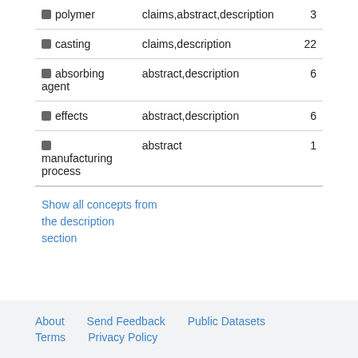| Concept | Section | Count |
| --- | --- | --- |
| polymer | claims,abstract,description | 3 |
| casting | claims,description | 22 |
| absorbing agent | abstract,description | 6 |
| effects | abstract,description | 6 |
| manufacturing process | abstract | 1 |
Show all concepts from the description section
About   Send Feedback   Public Datasets   Terms   Privacy Policy